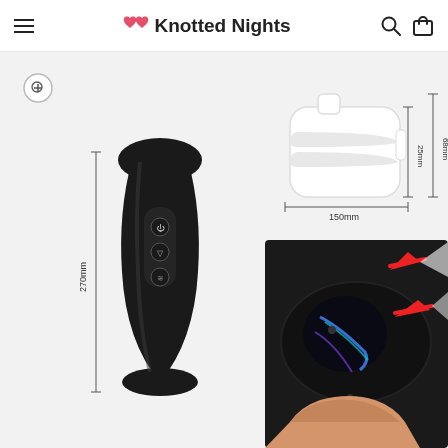Knotted Nights
[Figure (photo): Product photo showing a black male masturbator device (270mm tall) with control buttons, alongside a white silicone insert sleeve with dimensions 150mm x 25mm x 68mm labeled, and a second image showing the device being held open with red motion arrows indicating telescoping action.]